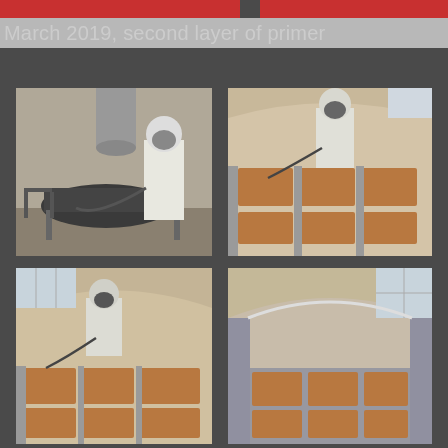[Figure (photo): Partial view of red-colored boat/vessel parts at top left]
[Figure (photo): Partial view of red-colored boat/vessel parts at top right]
March 2019, second layer of primer
[Figure (photo): Worker in white protective suit and respirator mask spraying primer on a dark surface in a workshop with chairs and equipment visible]
[Figure (photo): Worker in white protective suit spraying primer inside a boat hull showing brown/tan patchwork sections]
[Figure (photo): Worker in white protective suit applying primer inside arched boat hull with brown patch sections visible]
[Figure (photo): Interior view of boat hull showing primed sections with gray finish and brown patches, no worker visible]